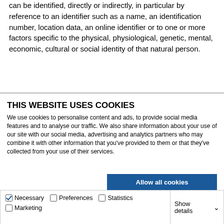can be identified, directly or indirectly, in particular by reference to an identifier such as a name, an identification number, location data, an online identifier or to one or more factors specific to the physical, physiological, genetic, mental, economic, cultural or social identity of that natural person.
THIS WEBSITE USES COOKIES
We use cookies to personalise content and ads, to provide social media features and to analyse our traffic. We also share information about your use of our site with our social media, advertising and analytics partners who may combine it with other information that you've provided to them or that they've collected from your use of their services.
Allow all cookies
Allow selection
Use necessary cookies only
Necessary  Preferences  Statistics  Marketing  Show details